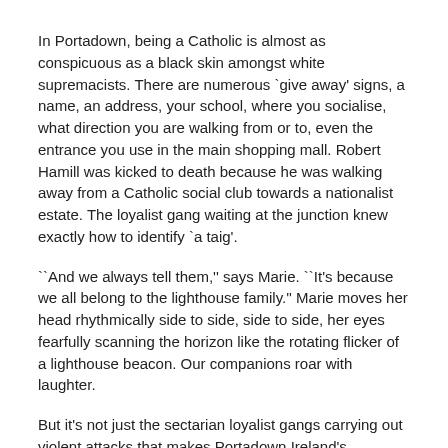In Portadown, being a Catholic is almost as conspicuous as a black skin amongst white supremacists. There are numerous `give away' signs, a name, an address, your school, where you socialise, what direction you are walking from or to, even the entrance you use in the main shopping mall. Robert Hamill was kicked to death because he was walking away from a Catholic social club towards a nationalist estate. The loyalist gang waiting at the junction knew exactly how to identify `a taig'.
``And we always tell them,'' says Marie. ``It's because we all belong to the lighthouse family.'' Marie moves her head rhythmically side to side, side to side, her eyes fearfully scanning the horizon like the rotating flicker of a lighthouse beacon. Our companions roar with laughter.
But it's not just the sectarian loyalist gangs carrying out violent attacks that makes Portadown Ireland's Alabama. It's the collusion of everyone else. The RUC patrol which ignored the desperate pleading of Robert Hamill's companions to intervene. The shoppers who passed by as a frightened little schoolboy was attacked in the town centre by a gang looking for a ``fenian''. ``It wasn't the beating,'' says Marie of her son's ordeal. `` Brian was very upset because other boys' mothers had walked by and no one had tried to stop it.''
The weekend before last in the shopping mall, when a glass cola bottle